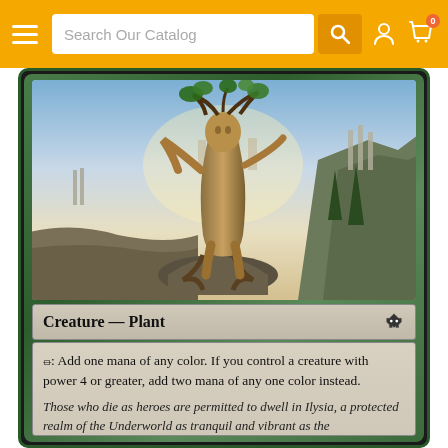Search Our Catalog
[Figure (illustration): Magic: The Gathering card showing a tree-person creature (dryad/plant) standing on a rocky outcrop with arms raised, surrounded by a fantasy Greek-inspired landscape with temples, tall cypress trees, and glowing sky. Card type line reads 'Creature — Plant'. Rules text: '{T}: Add one mana of any color. If you control a creature with power 4 or greater, add two mana of any one color instead.' Flavor text: 'Those who die as heroes are permitted to dwell in Ilysia, a protected realm of the Underworld as tranquil and vibrant as the']
Creature — Plant
{T}: Add one mana of any color. If you control a creature with power 4 or greater, add two mana of any one color instead.
Those who die as heroes are permitted to dwell in Ilysia, a protected realm of the Underworld as tranquil and vibrant as the